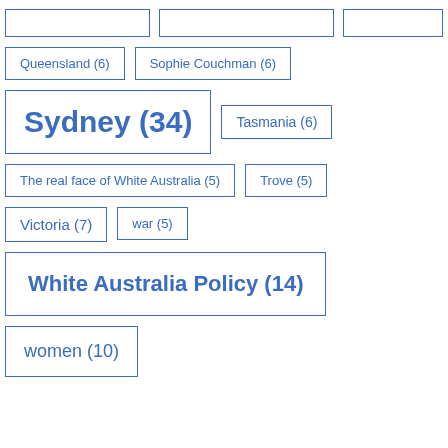Queensland (6)
Sophie Couchman (6)
Sydney (34)
Tasmania (6)
The real face of White Australia (5)
Trove (5)
Victoria (7)
war (5)
White Australia Policy (14)
women (10)